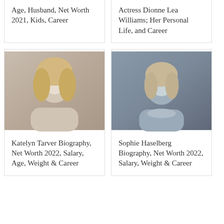Age, Husband, Net Worth 2021, Kids, Career
Actress Dionne Lea Williams; Her Personal Life, and Career
[Figure (photo): Portrait photo of Katelyn Tarver, a young blonde woman]
Katelyn Tarver Biography, Net Worth 2022, Salary, Age, Weight & Career
[Figure (photo): Portrait photo of Sophie Haselberg, a woman in a light blue top]
Sophie Haselberg Biography, Net Worth 2022, Salary, Weight & Career